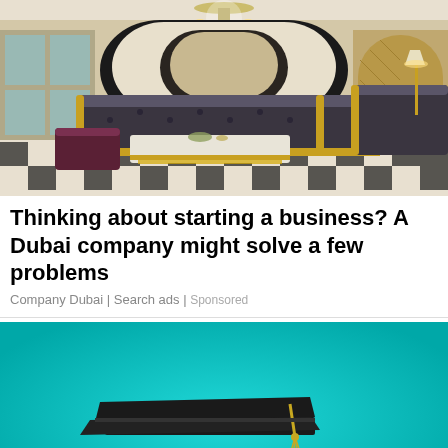[Figure (photo): Luxury living room interior with dark tufted sofas with gold trim, a white marble coffee table with gold base accents, a chandelier, checkered black and white marble floor, and ornate arch details on walls.]
Thinking about starting a business? A Dubai company might solve a few problems
Company Dubai | Search ads | Sponsored
[Figure (illustration): Illustration of a graduation cap (mortarboard) resting on a stack of books against a bright teal/turquoise background.]